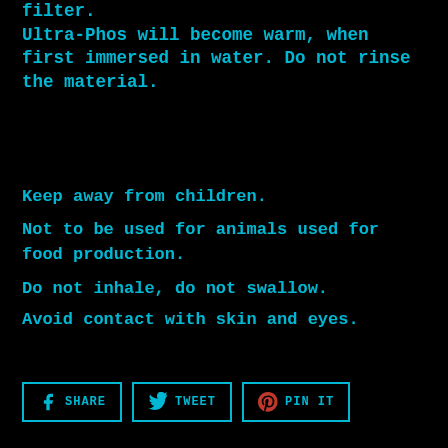filter. Ultra-Phos will become warm, when first immersed in water. Do not rinse the material.
Keep away from children.
Not to be used for animals used for food production.
Do not inhale, do not swallow.
Avoid contact with skin and eyes.